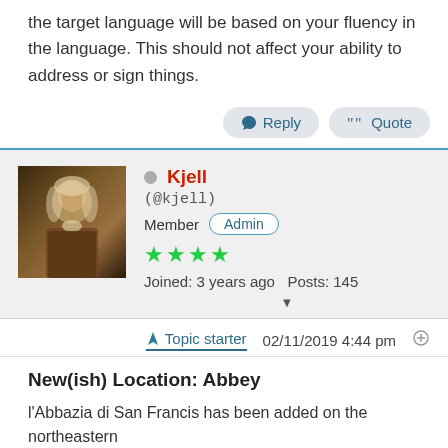the target language will be based on your fluency in the language. This should not affect your ability to address or sign things.
Reply   Quote
Kjell
(@kjell)
Member Admin
★★★★
Joined: 3 years ago   Posts: 145
Topic starter   02/11/2019 4:44 pm
New(ish) Location: Abbey
l'Abbazia di San Francis has been added on the northeastern